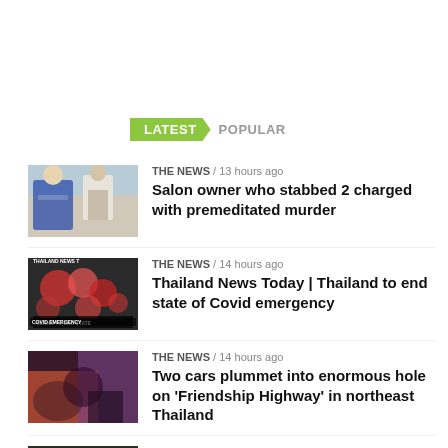LATEST   POPULAR
THE NEWS / 13 hours ago
Salon owner who stabbed 2 charged with premeditated murder
THE NEWS / 14 hours ago
Thailand News Today | Thailand to end state of Covid emergency
THE NEWS / 14 hours ago
Two cars plummet into enormous hole on 'Friendship Highway' in northeast Thailand
THE NEWS / 14 hours ago
Transgender stabs boyfriend to death after he hit her with a ganja bong